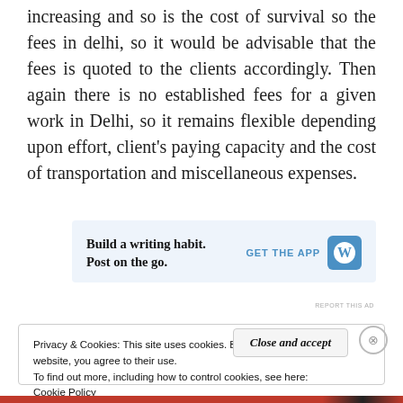increasing and so is the cost of survival so the fees in delhi, so it would be advisable that the fees is quoted to the clients accordingly. Then again there is no established fees for a given work in Delhi, so it remains flexible depending upon effort, client's paying capacity and the cost of transportation and miscellaneous expenses.
[Figure (other): WordPress app advertisement banner: 'Build a writing habit. Post on the go.' with GET THE APP button and WordPress logo]
Privacy & Cookies: This site uses cookies. By continuing to use this website, you agree to their use.
To find out more, including how to control cookies, see here: Cookie Policy
Close and accept